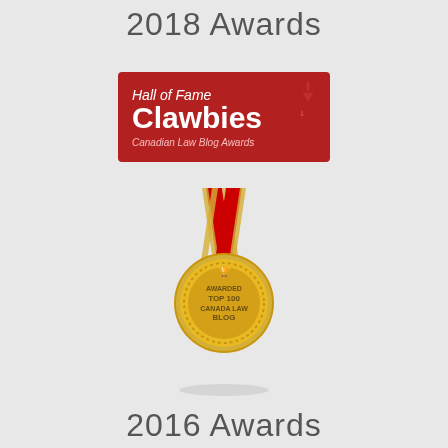2018 Awards
[Figure (logo): Hall of Fame Clawbies Canadian Law Blog Awards badge - red banner with white text]
[Figure (illustration): Gold medal with red and gold ribbon showing 'Awarded Top 100 Canada Law Blog']
2016 Awards